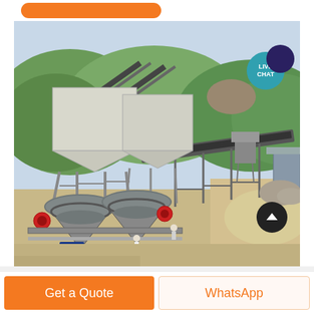[Figure (photo): Aerial view of a large industrial quarry or mining crushing and conveyor plant with cone crushers, conveyor belts, hoppers/silos, and workers visible. Green forested hills in background. Sandy/rocky terrain.]
LIVE CHAT
Get a Quote
WhatsApp